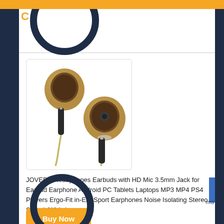[Figure (photo): Two wooden in-ear earbuds/earphones with braided cable shown side by side against white background]
JOVERS Headphones Earbuds with HD Mic 3.5mm Jack for Earbud Earphone Android PC Tablets Laptops MP3 MP4 PS4 Players Ergo-Fit in-Ear Sport Earphones Noise Isolating Stereo Sound (White)
Buy Now